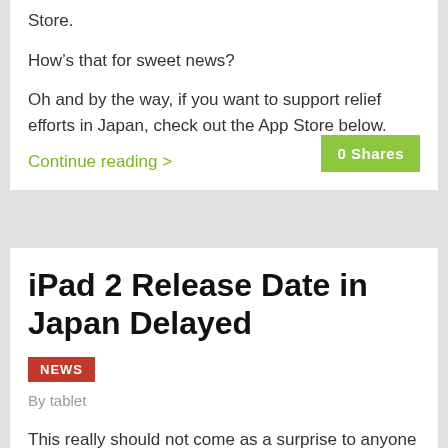Store.
How’s that for sweet news?
Oh and by the way, if you want to support relief efforts in Japan, check out the App Store below.
Continue reading >
iPad 2 Release Date in Japan Delayed
NEWS
By tablet
This really should not come as a surprise to anyone